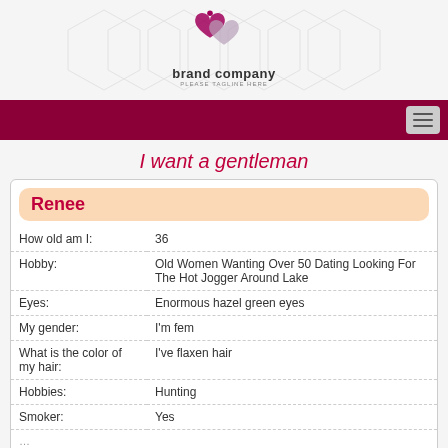[Figure (logo): Brand company logo with two interlinked hearts and a stethoscope/person icon in mauve/pink, with text 'brand company' and tagline 'PLEASE TAGLINE HERE']
I want a gentleman
| Field | Value |
| --- | --- |
| How old am I: | 36 |
| Hobby: | Old Women Wanting Over 50 Dating Looking For The Hot Jogger Around Lake |
| Eyes: | Enormous hazel green eyes |
| My gender: | I'm fem |
| What is the color of my hair: | I've flaxen hair |
| Hobbies: | Hunting |
| Smoker: | Yes |